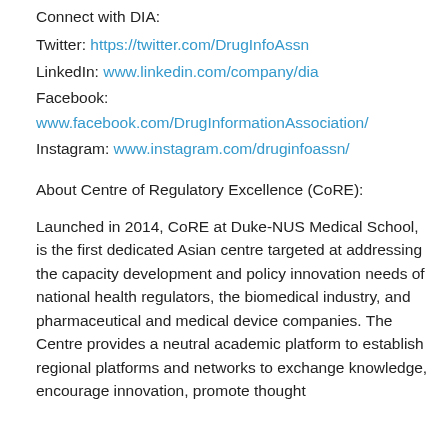Connect with DIA:
Twitter: https://twitter.com/DrugInfoAssn
LinkedIn: www.linkedin.com/company/dia
Facebook: www.facebook.com/DrugInformationAssociation/
Instagram: www.instagram.com/druginfoassn/
About Centre of Regulatory Excellence (CoRE):
Launched in 2014, CoRE at Duke-NUS Medical School, is the first dedicated Asian centre targeted at addressing the capacity development and policy innovation needs of national health regulators, the biomedical industry, and pharmaceutical and medical device companies. The Centre provides a neutral academic platform to establish regional platforms and networks to exchange knowledge, encourage innovation, promote thought